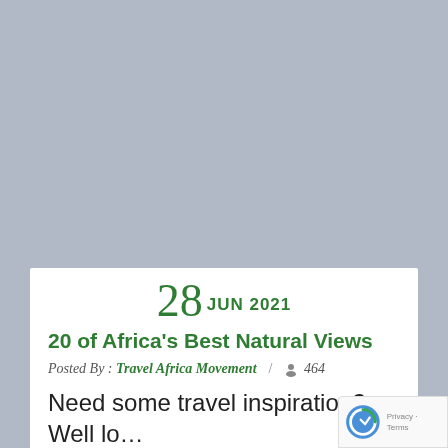[Figure (photo): Gray placeholder image area at the top of the page]
28 JUN 2021
20 of Africa's Best Natural Views
Posted By : Travel Africa Movement / 464
Need some travel inspiration? Well lo...